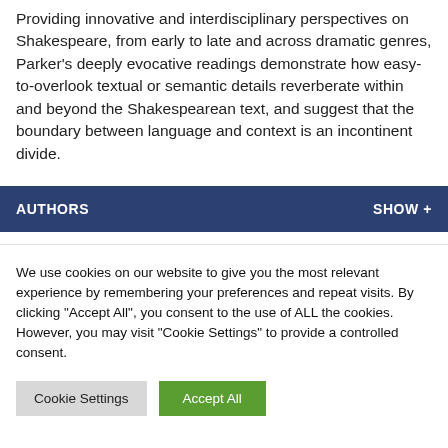Providing innovative and interdisciplinary perspectives on Shakespeare, from early to late and across dramatic genres, Parker's deeply evocative readings demonstrate how easy-to-overlook textual or semantic details reverberate within and beyond the Shakespearean text, and suggest that the boundary between language and context is an incontinent divide.
AUTHORS    SHOW +
We use cookies on our website to give you the most relevant experience by remembering your preferences and repeat visits. By clicking "Accept All", you consent to the use of ALL the cookies. However, you may visit "Cookie Settings" to provide a controlled consent.